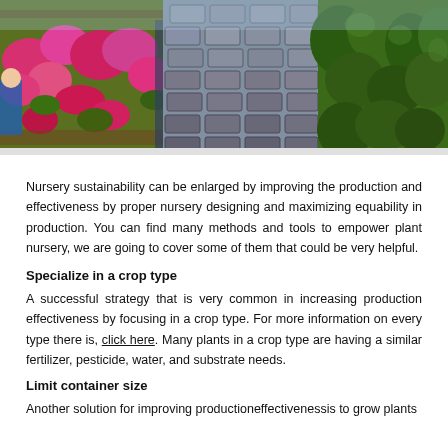[Figure (photo): Nursery pathway with pink flowering plants on the left, stone brick walkway in the center, and green shrubs/plants on the right]
Nursery sustainability can be enlarged by improving the production and effectiveness by proper nursery designing and maximizing equability in production. You can find many methods and tools to empower plant nursery, we are going to cover some of them that could be very helpful.
Specialize in a crop type
A successful strategy that is very common in increasing production effectiveness by focusing in a crop type. For more information on every type there is, click here. Many plants in a crop type are having a similar fertilizer, pesticide, water, and substrate needs.
Limit container size
Another solution for improving productioneffectivenessis to grow plants